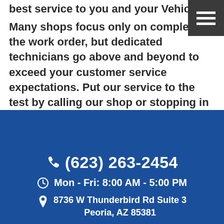best service to you and your Vehicle.
Many shops focus only on completing the work order, but dedicated technicians go above and beyond to exceed your customer service expectations. Put our service to the test by calling our shop or stopping in to schedule a smog check for your vehicle today!
☎ (623) 263-2454
🕐 Mon - Fri: 8:00 AM - 5:00 PM
📍 8736 W Thunderbird Rd Suite 3 Peoria, AZ 85381